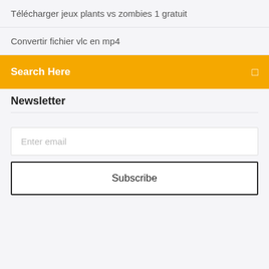Télécharger jeux plants vs zombies 1 gratuit
Convertir fichier vlc en mp4
Search Here
Newsletter
Enter email
Subscribe